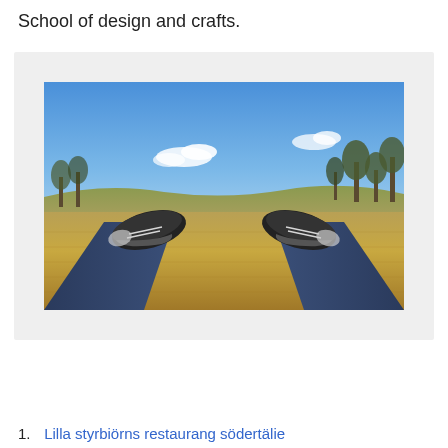School of design and crafts.
[Figure (photo): A person lying in a golden/dry grass field, legs extended with sneakers (Converse style) in the foreground, blue sky with trees and rolling hills in the background.]
1. Lilla styrbiörns restaurang södertälie